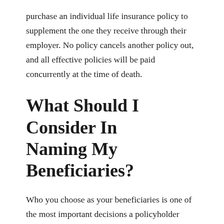purchase an individual life insurance policy to supplement the one they receive through their employer. No policy cancels another policy out, and all effective policies will be paid concurrently at the time of death.
What Should I Consider In Naming My Beneficiaries?
Who you choose as your beneficiaries is one of the most important decisions a policyholder makes. You will have the option to designate one primary beneficiary or multiple ones. If multiple beneficiaries are designated, you will need to decide how the death benefit is allocated between them. Beneficiaries are not required to be actual people. Legal entities such as foundations, charities, or